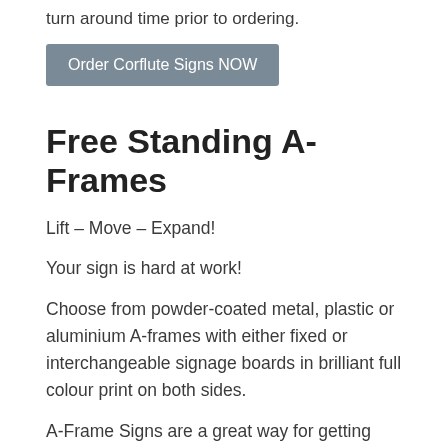turn around time prior to ordering.
Order Corflute Signs NOW
Free Standing A-Frames
Lift – Move – Expand!
Your sign is hard at work!
Choose from powder-coated metal, plastic or aluminium A-frames with either fixed or interchangeable signage boards in brilliant full colour print on both sides.
A-Frame Signs are a great way for getting your business message across to people who are passing by.